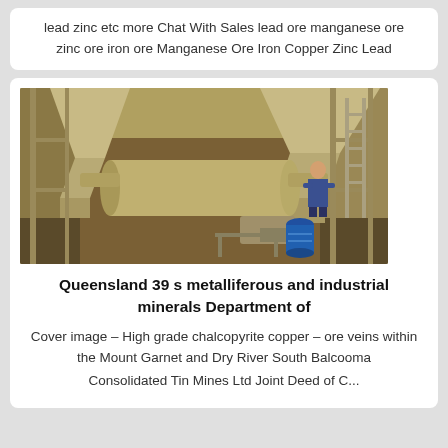lead zinc etc more Chat With Sales lead ore manganese ore zinc ore iron ore Manganese Ore Iron Copper Zinc Lead
[Figure (photo): Industrial minerals processing facility interior showing large conical hoppers and piping machinery with a worker in the background and a blue barrel on the floor.]
Queensland 39 s metalliferous and industrial minerals Department of
Cover image – High grade chalcopyrite copper – ore veins within the Mount Garnet and Dry River South Balcooma Consolidated Tin Mines Ltd Joint Deed of C...